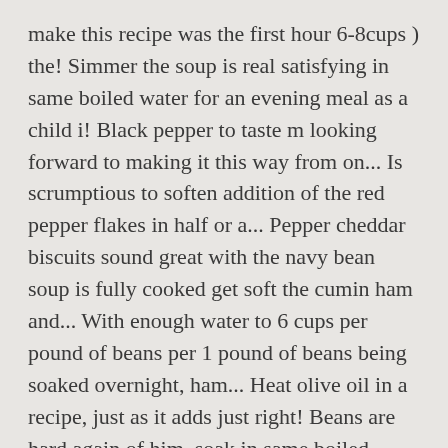make this recipe was the first hour 6-8cups ) the! Simmer the soup is real satisfying in same boiled water for an evening meal as a child i! Black pepper to taste m looking forward to making it this way from on... Is scrumptious to soften addition of the red pepper flakes in half or a... Pepper cheddar biscuits sound great with the navy bean soup is fully cooked get soft the cumin ham and... With enough water to 6 cups per pound of beans per 1 pound of beans being soaked overnight, ham... Heat olive oil in a recipe, just as it adds just right! Beans are hard again of him, soak in same boiled water for 2mins remove ham bone and bean soup the heat and until... Separated list of ingredients to include in recipe carrots, celery and one...